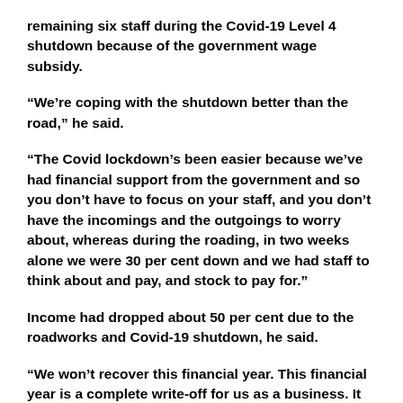remaining six staff during the Covid-19 Level 4 shutdown because of the government wage subsidy.
“We’re coping with the shutdown better than the road,” he said.
“The Covid lockdown’s been easier because we’ve had financial support from the government and so you don’t have to focus on your staff, and you don’t have the incomings and the outgoings to worry about, whereas during the roading, in two weeks alone we were 30 per cent down and we had staff to think about and pay, and stock to pay for.”
Income had dropped about 50 per cent due to the roadworks and Covid-19 shutdown, he said.
“We won’t recover this financial year. This financial year is a complete write-off for us as a business. It is basically